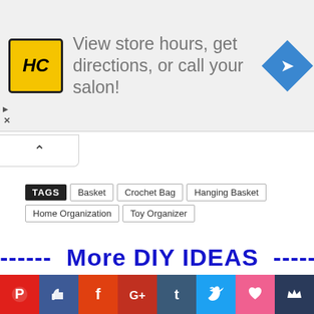[Figure (other): Advertisement banner with HC salon logo, text 'View store hours, get directions, or call your salon!', and a blue navigation icon on the right]
[Figure (other): Collapse/accordion button with upward caret chevron]
TAGS  Basket  Crochet Bag  Hanging Basket  Home Organization  Toy Organizer
------ More DIY IDEAS ------
[Figure (other): Advertisement banner placeholder with play/ad icon]
[Figure (other): Social sharing bar with icons for Pinterest, Like/Facebook thumbs up, Facebook, Google+, Tumblr, Twitter, Heart/Favorite, Crown]